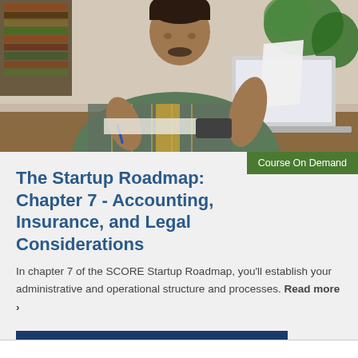[Figure (photo): Person in plaid shirt sitting at desk writing on paper with a laptop in front, bookshelves and plants in background]
Course On Demand
The Startup Roadmap: Chapter 7 - Accounting, Insurance, and Legal Considerations
In chapter 7 of the SCORE Startup Roadmap, you'll establish your administrative and operational structure and processes. Read more >
View Course ▶